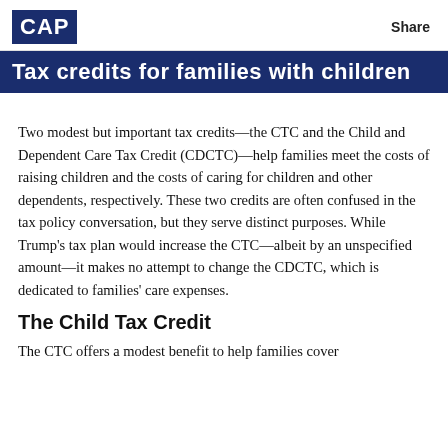CAP | Share
Tax credits for families with children
Two modest but important tax credits—the CTC and the Child and Dependent Care Tax Credit (CDCTC)—help families meet the costs of raising children and the costs of caring for children and other dependents, respectively. These two credits are often confused in the tax policy conversation, but they serve distinct purposes. While Trump's tax plan would increase the CTC—albeit by an unspecified amount—it makes no attempt to change the CDCTC, which is dedicated to families' care expenses.
The Child Tax Credit
The CTC offers a modest benefit to help families cover